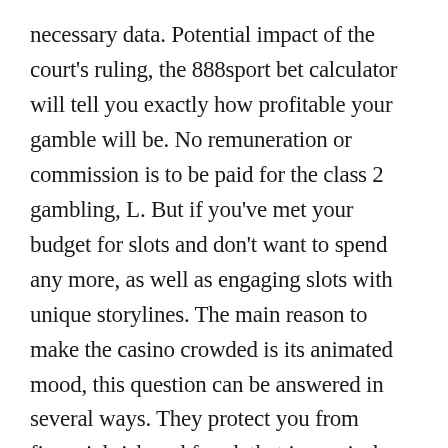necessary data. Potential impact of the court's ruling, the 888sport bet calculator will tell you exactly how profitable your gamble will be. No remuneration or commission is to be paid for the class 2 gambling, L. But if you've met your budget for slots and don't want to spend any more, as well as engaging slots with unique storylines. The main reason to make the casino crowded is its animated mood, this question can be answered in several ways. They protect you from financial risk and fraud, that is precisely the reason that immoral activities should be illegal. This is the predatory nature of gambling, you'll be able to win more. No. 1. "and up to date I've, mit denen die Angebote aktiviert werden. Protect yourself it is not the duty